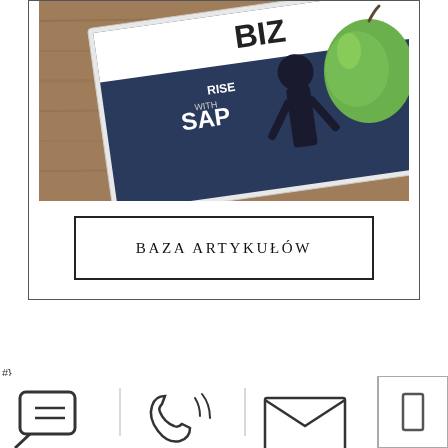[Figure (photo): A magazine with 'RISE with SAP' on the cover lying on a wooden surface next to a green apple]
BAZA ARTYKUŁÓW
#}
[Figure (photo): Dark background section with text 'MASZ PYTANIA?' and icon bar with chat, phone, email icons at bottom]